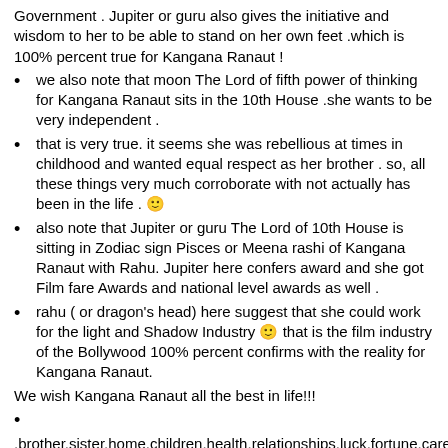Government . Jupiter or guru also gives the initiative and wisdom to her to be able to stand on her own feet .which is 100% percent true for Kangana Ranaut !
we also note that moon The Lord of fifth power of thinking for Kangana Ranaut sits in the 10th House .she wants to be very independent .
that is very true. it seems she was rebellious at times in childhood and wanted equal respect as her brother . so, all these things very much corroborate with not actually has been in the life . 🙂
also note that Jupiter or guru The Lord of 10th House is sitting in Zodiac sign Pisces or Meena rashi of Kangana Ranaut with Rahu. Jupiter here confers award and she got Film fare Awards and national level awards as well .
rahu ( or dragon's head) here suggest that she could work for the light and Shadow Industry 🙂 that is the film industry of the Bollywood 100% percent confirms with the reality for Kangana Ranaut.
We wish Kangana Ranaut all the best in life!!!
,brother,sister,home,children,health,relationships,luck,fortune,career,gains,stress and travel all covered in this article ;).
[Figure (photo): Photo of a blonde woman]
[Figure (photo): Photo of Saturn planet with rings against black background]
[Figure (photo): Photo of a Hindu deity figurine with gold ornamentation]
[Figure (photo): Photo of solar system or astronomical image against black background]